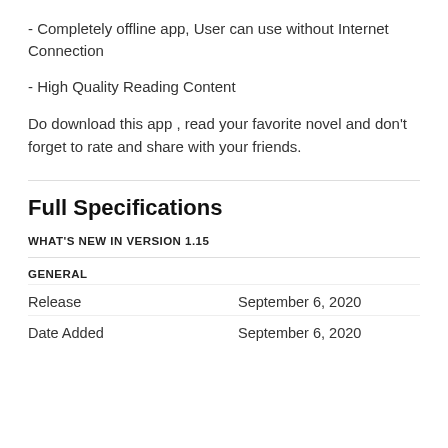- Completely offline app, User can use without Internet Connection
- High Quality Reading Content
Do download this app , read your favorite novel and don't forget to rate and share with your friends.
Full Specifications
WHAT'S NEW IN VERSION 1.15
GENERAL
|  |  |
| --- | --- |
| Release | September 6, 2020 |
| Date Added | September 6, 2020 |